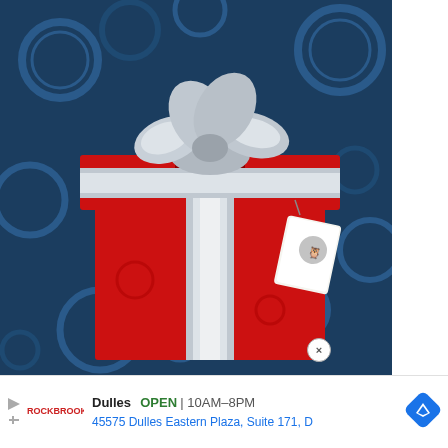[Figure (illustration): A red gift box with a silver metallic ribbon and bow on a dark blue steampunk gear background. A tag with an owl logo hangs from the ribbon. The image reads 'For all the tinke[rs and] writers [and] www.[something]' at the bottom.]
For all the tinke[rs and] writers [and] www.[site]
[Figure (logo): A cyan/turquoise play button triangle logo with an 'i' inside, on a gray and black split background. Appears to be a video/media service logo.]
Dulles  OPEN | 10AM–8PM
45575 Dulles Eastern Plaza, Suite 171, D